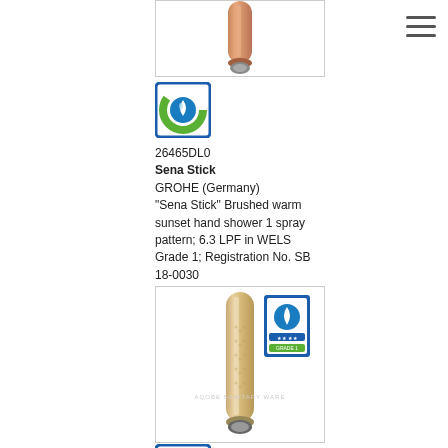[Figure (photo): Top portion of a brushed warm sunset hand shower (Sena Stick) in rose/copper tone, shown against white background in a bordered image box]
[Figure (logo): WELS water efficiency label - blue bordered square with blue and green droplet/leaf circular logo]
26465DL0
Sena Stick
GROHE (Germany)
"Sena Stick" Brushed warm sunset hand shower 1 spray pattern; 6.3 LPF in WELS Grade 1; Registration No. SB 18-0030
[Figure (photo): Full Sena Stick hand shower in brushed champagne/warm sunset finish, shown vertically in a bordered image box with WELS badge visible in upper right corner and faint watermark text]
[Figure (logo): WELS water efficiency label - blue bordered square with blue and green droplet/leaf circular logo (partial, at bottom of page)]